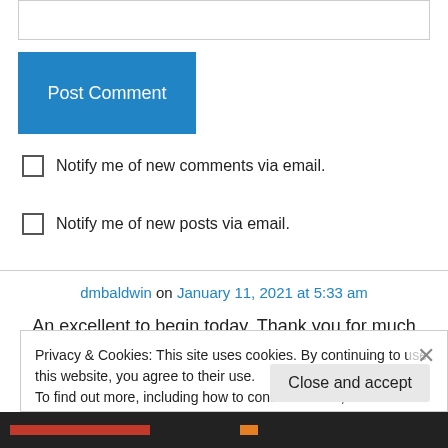[Figure (screenshot): Text input box area at top of page]
Post Comment
Notify me of new comments via email.
Notify me of new posts via email.
dmbaldwin on January 11, 2021 at 5:33 am
An excellent to begin today. Thank you for much
Privacy & Cookies: This site uses cookies. By continuing to use this website, you agree to their use.
To find out more, including how to control cookies, see here: Cookie Policy
Close and accept